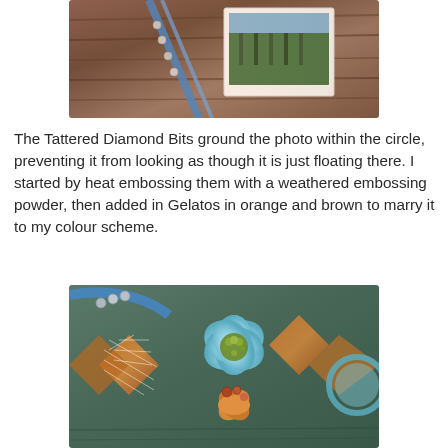[Figure (photo): Close-up photo of craft/scrapbooking materials including blue ribbon, pearl beads, and a photo on a weathered wooden background with rust and brown tones.]
The Tattered Diamond Bits ground the photo within the circle, preventing it from looking as though it is just floating there. I started by heat embossing them with a weathered embossing powder, then added in Gelatos in orange and brown to marry it to my colour scheme.
[Figure (photo): Close-up photo of a light blue flower with green center buds on a craft/scrapbooking layout with diamond-shaped textured pieces in orange and brown tones, and teal circle element.]